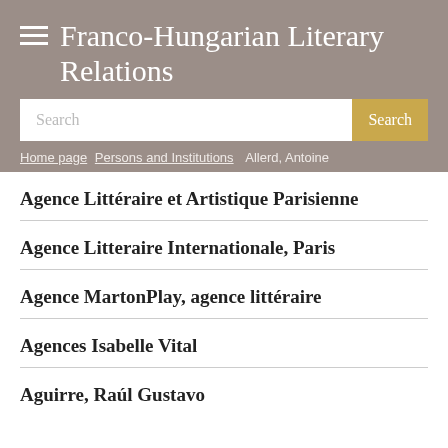Franco-Hungarian Literary Relations
Search
Home page / Persons and Institutions / Allerd, Antoine
Agence Littéraire et Artistique Parisienne
Agence Litteraire Internationale, Paris
Agence MartonPlay, agence littéraire
Agences Isabelle Vital
Aguirre, Raúl Gustavo